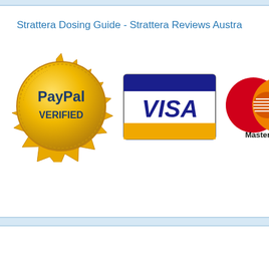Strattera Dosing Guide - Strattera Reviews Austra
[Figure (logo): PayPal Verified gold seal badge]
[Figure (logo): VISA credit card logo with blue header bar and gold bottom bar]
[Figure (logo): MasterCard logo with overlapping red and orange circles]
[Figure (logo): Partial blue circle logo, cut off at right edge]